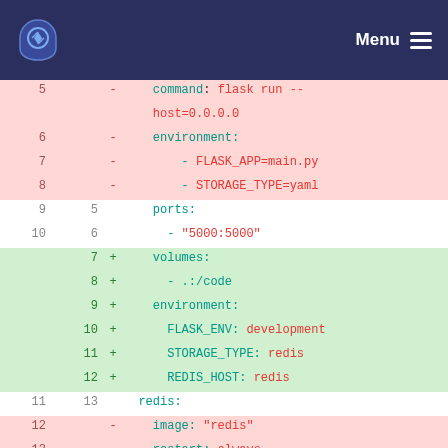Menu navigation header with logo
[Figure (screenshot): Code diff view showing YAML docker-compose changes with removed lines (pink background) and added lines (green background). Removed lines show flask run command, environment variables FLASK_APP and STORAGE_TYPE=yaml, and redis image/restart/ports config. Added lines show volumes, environment with FLASK_ENV development, STORAGE_TYPE redis, REDIS_HOST redis, and image redis:alpine.]